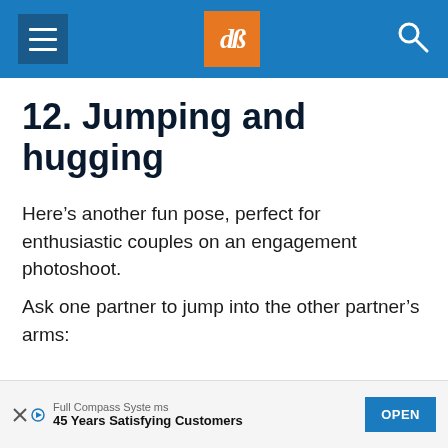dPS [navigation header with hamburger menu, dPS logo, and search icon]
12. Jumping and hugging
Here’s another fun pose, perfect for enthusiastic couples on an engagement photoshoot.
Ask one partner to jump into the other partner’s arms:
[Figure (illustration): Partial illustration of figures at the bottom of the page]
Full Compass Systems | 45 Years Satisfying Customers | OPEN